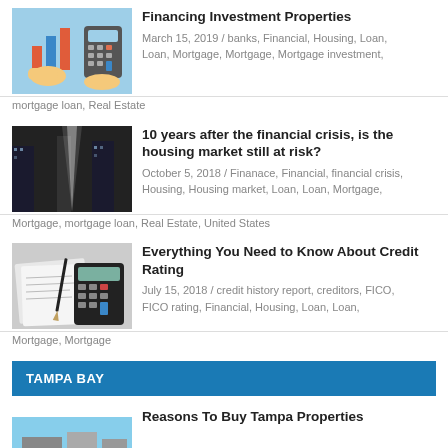[Figure (illustration): Illustration of hands with calculator and bar chart]
Financing Investment Properties
March 15, 2019 / banks, Financial, Housing, Loan, Loan, Mortgage, Mortgage, Mortgage investment, mortgage loan, Real Estate
[Figure (photo): Photo of skyscrapers with light beam from below]
10 years after the financial crisis, is the housing market still at risk?
October 5, 2018 / Finanace, Financial, financial crisis, Housing, Housing market, Loan, Loan, Mortgage, Mortgage, mortgage loan, Real Estate, United States
[Figure (photo): Photo of calculator and documents on desk]
Everything You Need to Know About Credit Rating
July 15, 2018 / credit history report, creditors, FICO, FICO rating, Financial, Housing, Loan, Loan, Mortgage, Mortgage
TAMPA BAY
[Figure (photo): Photo of Tampa Bay property/waterfront]
Reasons To Buy Tampa Properties